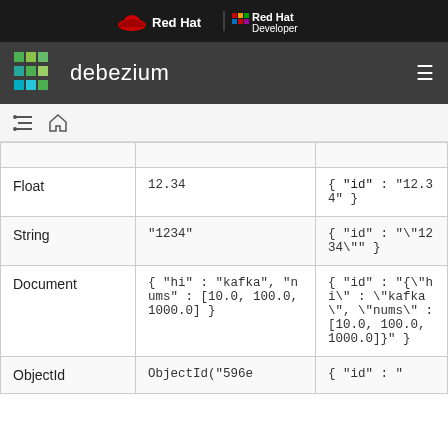Red Hat | Red Hat Developer
debezium
| Type | Value | Document representation |
| --- | --- | --- |
| Float | 12.34 | { "id" : "12.34" } |
| String | "1234" | { "id" : "\"1234\"" } |
| Document | { "hi" : "kafka", "nums" : [10.0, 100.0, 1000.0] } | { "id" : "{\"hi\" : \"kafka\", \"nums\" : [10.0, 100.0, 1000.0]}" } |
| ObjectId | ObjectId("596e... | { "id" : "... |